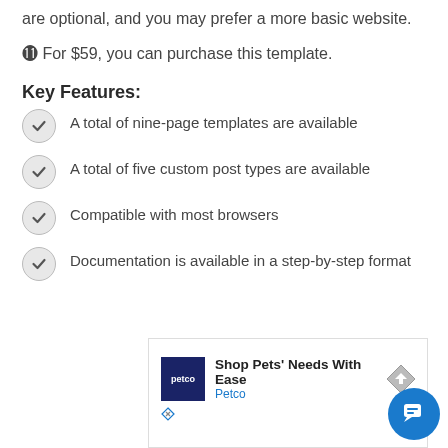are optional, and you may prefer a more basic website.
⊙ For $59, you can purchase this template.
Key Features:
A total of nine-page templates are available
A total of five custom post types are available
Compatible with most browsers
Documentation is available in a step-by-step format
[Figure (other): Petco advertisement: Shop Pets' Needs With Ease, Petco, with navigation icon and close/ad markers]